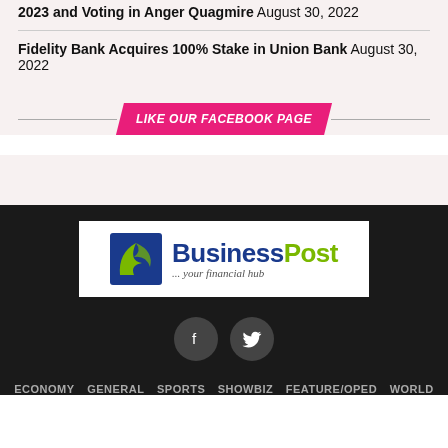2023 and Voting in Anger Quagmire August 30, 2022
Fidelity Bank Acquires 100% Stake in Union Bank August 30, 2022
LIKE OUR FACEBOOK PAGE
[Figure (logo): BusinessPost logo with icon and tagline '... your financial hub']
[Figure (other): Social media icons: Facebook and Twitter circular buttons]
ECONOMY   GENERAL   SPORTS   SHOWBIZ   FEATURE/OPED   WORLD